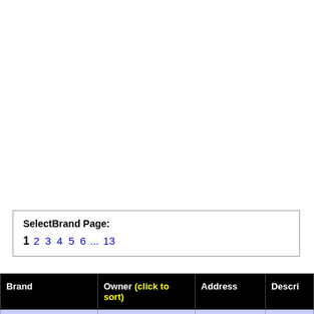SelectBrand Page: 1 2 3 4 5 6 ... 13
| Brand | Owner (click to sort) | Address | Descri... |
| --- | --- | --- | --- |
| FIZZ FACTOR | GRIPTONITE, | 12421 | VIDEO |